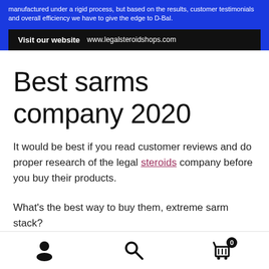manufactured under a rigid process, but based on the results, customer testimonials and overall efficiency we have to give the edge to D-Bal.
Visit our website   www.legalsteroidshops.com
Best sarms company 2020
It would be best if you read customer reviews and do proper research of the legal steroids company before you buy their products.
What's the best way to buy them, extreme sarm stack?
There are many ways to buy hydrocortisone, best sarms